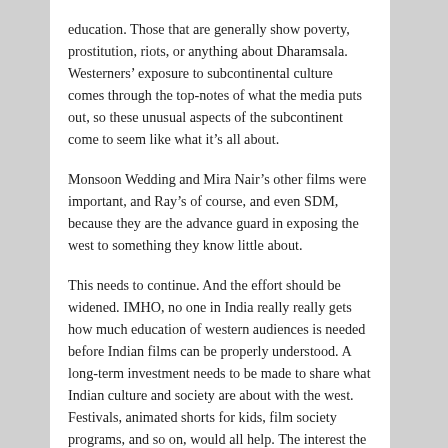education. Those that are generally show poverty, prostitution, riots, or anything about Dharamsala. Westerners' exposure to subcontinental culture comes through the top-notes of what the media puts out, so these unusual aspects of the subcontinent come to seem like what it's all about.
Monsoon Wedding and Mira Nair's other films were important, and Ray's of course, and even SDM, because they are the advance guard in exposing the west to something they know little about.
This needs to continue. And the effort should be widened. IMHO, no one in India really really gets how much education of western audiences is needed before Indian films can be properly understood. A long-term investment needs to be made to share what Indian culture and society are about with the west. Festivals, animated shorts for kids, film society programs, and so on, would all help. The interest the west had recently been taking in India and Pakistan is heartening. There's been a big upswing in NYTimes stories about the